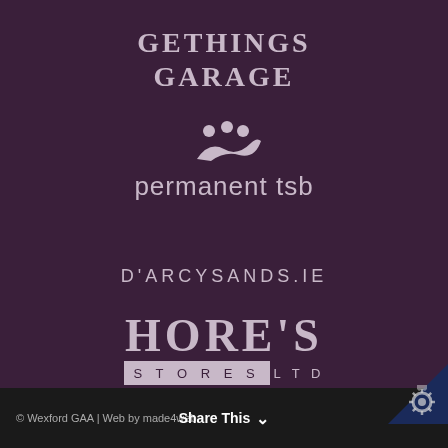[Figure (logo): GETHINGS GARAGE logo text in serif bold uppercase letters, light purple/gray on dark purple background]
[Figure (logo): permanent tsb bank logo with stylized dots/people icon above text, light gray on dark purple background]
[Figure (logo): D'ARCYSANDS.IE text logo in spaced uppercase letters, light gray on dark purple background]
[Figure (logo): HORE'S STORES LTD logo with large serif text and stores in a highlighted box, light gray on dark purple background]
© Wexford GAA | Web by made4web    Share This ∨